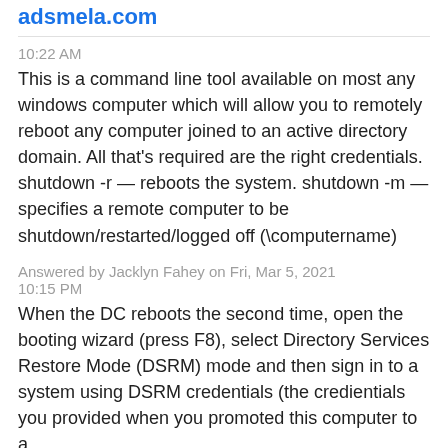adsmela.com
10:22 AM
This is a command line tool available on most any windows computer which will allow you to remotely reboot any computer joined to an active directory domain. All that's required are the right credentials. shutdown -r — reboots the system. shutdown -m — specifies a remote computer to be shutdown/restarted/logged off (\computername)
Answered by Jacklyn Fahey on Fri, Mar 5, 2021 10:15 PM
When the DC reboots the second time, open the booting wizard (press F8), select Directory Services Restore Mode (DSRM) mode and then sign in to a system using DSRM credentials (the credientials you provided when you promoted this computer to a